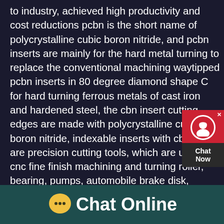to industry, achieved high productivity and cost reductions pcbn is the short name of polycrystalline cubic boron nitride, and pcbn inserts are mainly for the hard metal turning to replace the conventional machining waytipped pcbn inserts in 80 degree diamond shape C for hard turning ferrous metals of cast iron and hardened steel, the cbn insert cutting edges are made with polycrystalline cubic boron nitride, indexable inserts with cbn tips are precision cutting tools, which are used in cnc fine finish machining and turning roller, bearing, pumps, automobile brake disk, aircraft jet enginetipped pcbn inserts in 80 degree diamond shape C for hardfull top surface pcd inserts and full face milling pcd inserts for
[Figure (other): Chat Now widget: red background with white headset/person icon, close X button, and dark Chat Now label below]
[Figure (other): Chat Online footer bar with yellow speech bubble icon with ellipsis and white bold text 'Chat Online' on teal/dark green background]